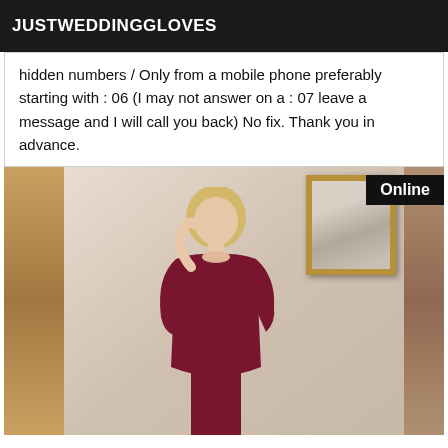JUSTWEDDINGGLOVES
hidden numbers / Only from a mobile phone preferably starting with : 06 (I may not answer on a : 07 leave a message and I will call you back) No fix. Thank you in advance.
[Figure (photo): A woman in a dark red lace dress standing in a room with a mirror and framed picture on the wall. A black badge in the top right corner reads 'Online'.]